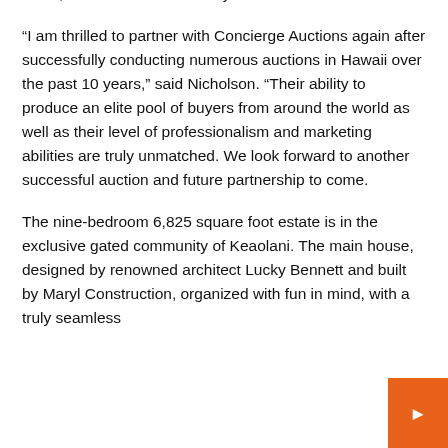world, and will end on January 26.
“I am thrilled to partner with Concierge Auctions again after successfully conducting numerous auctions in Hawaii over the past 10 years,” said Nicholson. “Their ability to produce an elite pool of buyers from around the world as well as their level of professionalism and marketing abilities are truly unmatched. We look forward to another successful auction and future partnership to come.
The nine-bedroom 6,825 square foot estate is in the exclusive gated community of Keaolani. The main house, designed by renowned architect Lucky Bennett and built by Maryl Construction, organized with fun in mind, with a truly seamless